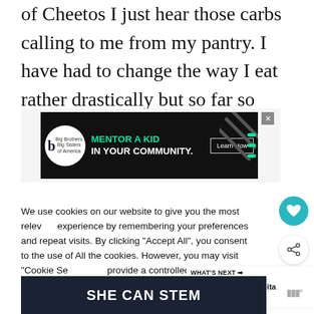of Cheetos I just hear those carbs calling to me from my pantry. I have had to change the way I eat rather drastically but so far so good.
[Figure (other): Big Brothers Big Sisters advertisement banner with text MENTOR A KID IN YOUR COMMUNITY and Learn How button on black background]
We use cookies on our website to give you the most relevant experience by remembering your preferences and repeat visits. By clicking "Accept All", you consent to the use of ALL the cookies. However, you may visit "Cookie Settings" to provide a controlled consent.
[Figure (other): What's Next widget showing Shrimp Fajita Omelette thumbnail]
[Figure (other): SHE CAN STEM advertisement banner with dark background]